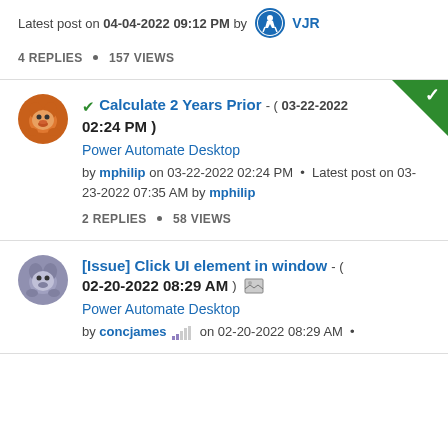Latest post on 04-04-2022 09:12 PM by VJR
4 REPLIES • 157 VIEWS
[Figure (other): Solved post card for 'Calculate 2 Years Prior' with green solved corner checkmark, orange dog avatar, posted 03-22-2022 02:24 PM in Power Automate Desktop by mphilip]
Calculate 2 Years Prior - ( 03-22-2022 02:24 PM )
Power Automate Desktop
by mphilip on 03-22-2022 02:24 PM • Latest post on 03-23-2022 07:35 AM by mphilip
2 REPLIES • 58 VIEWS
[Figure (other): Post card for '[Issue] Click UI element in window' with dog avatar, posted 02-20-2022 08:29 AM in Power Automate Desktop by concjames]
[Issue] Click UI element in window - ( 02-20-2022 08:29 AM )
Power Automate Desktop
by concjames on 02-20-2022 08:29 AM •